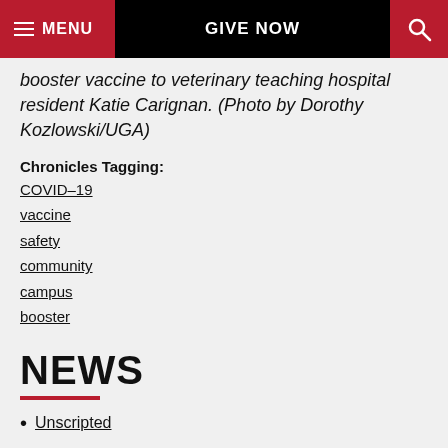MENU | GIVE NOW | [search icon]
booster vaccine to veterinary teaching hospital resident Katie Carignan. (Photo by Dorothy Kozlowski/UGA)
Chronicles Tagging:
COVID-19
vaccine
safety
community
campus
booster
NEWS
Unscripted